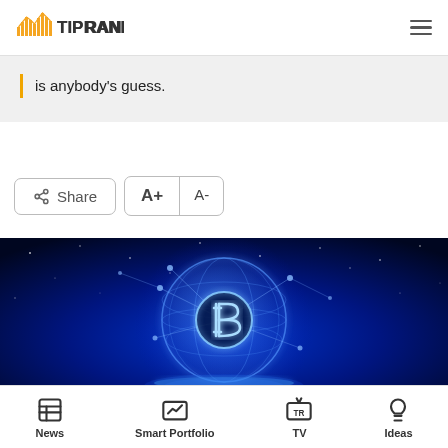TipRanks
is anybody's guess.
Share  A+  A-
[Figure (illustration): Bitcoin cryptocurrency globe illustration on dark blue starry background, showing a glowing globe with Bitcoin symbol (B) in center, connected network nodes, on a reflective surface]
News  Smart Portfolio  TV  Ideas